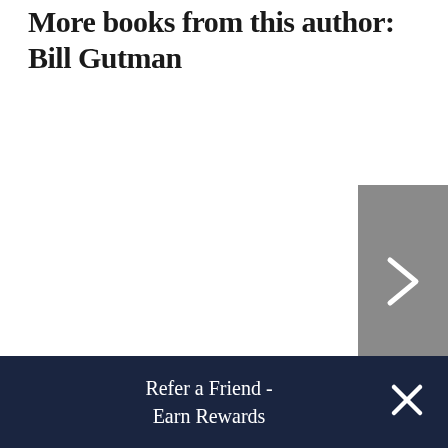More books from this author: Bill Gutman
[Figure (other): Navigation arrow button (chevron right) on grey background for carousel next slide]
Refer a Friend - Earn Rewards
[Figure (other): Close (X) button on dark navy banner]